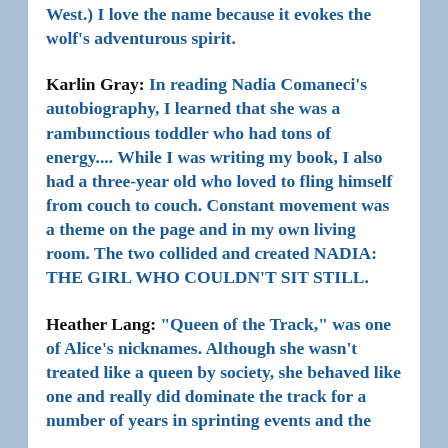West.) I love the name because it evokes the wolf's adventurous spirit.
Karlin Gray: In reading Nadia Comaneci's autobiography, I learned that she was a rambunctious toddler who had tons of energy.... While I was writing my book, I also had a three-year old who loved to fling himself from couch to couch. Constant movement was a theme on the page and in my own living room. The two collided and created NADIA: THE GIRL WHO COULDN'T SIT STILL.
Heather Lang: "Queen of the Track," was one of Alice's nicknames. Although she wasn't treated like a queen by society, she behaved like one and really did dominate the track for a number of years in sprinting events and the